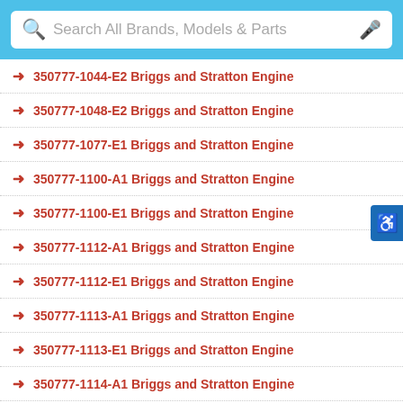[Figure (screenshot): Search bar with magnifier icon, placeholder text 'Search All Brands, Models & Parts', and microphone icon, on a blue background]
→ 350777-1044-E2 Briggs and Stratton Engine
→ 350777-1048-E2 Briggs and Stratton Engine
→ 350777-1077-E1 Briggs and Stratton Engine
→ 350777-1100-A1 Briggs and Stratton Engine
→ 350777-1100-E1 Briggs and Stratton Engine
→ 350777-1112-A1 Briggs and Stratton Engine
→ 350777-1112-E1 Briggs and Stratton Engine
→ 350777-1113-A1 Briggs and Stratton Engine
→ 350777-1113-E1 Briggs and Stratton Engine
→ 350777-1114-A1 Briggs and Stratton Engine
→ 350777-1115-A1 Briggs and Stratton Engine
→ 350777-1115-E1 Briggs and Stratton Engine